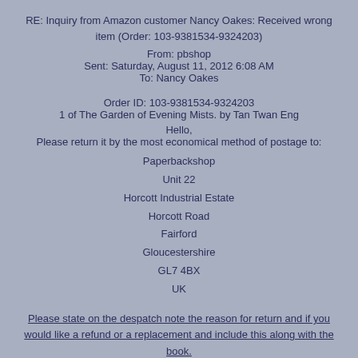RE: Inquiry from Amazon customer Nancy Oakes: Received wrong item (Order: 103-9381534-9324203)
From: pbshop
Sent: Saturday, August 11, 2012 6:08 AM
To: Nancy Oakes
Order ID: 103-9381534-9324203
1 of The Garden of Evening Mists. by Tan Twan Eng
Hello,
Please return it by the most economical method of postage to:
Paperbackshop
Unit 22
Horcott Industrial Estate
Horcott Road
Fairford
Gloucestershire
GL7 4BX
UK
Please state on the despatch note the reason for return and if you would like a refund or a replacement and include this along with the book.